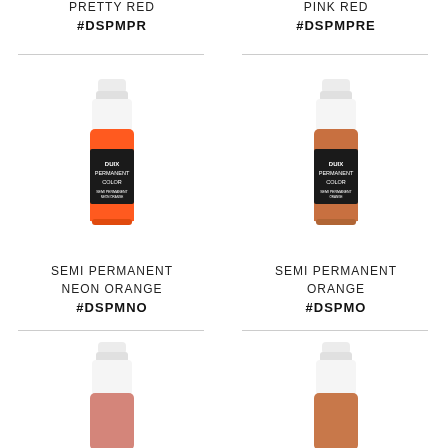PRETTY RED
#DSPMPR
PINK RED
#DSPMPRE
[Figure (photo): Small dropper bottle with orange-red liquid and black label reading DUIX PERMANENT COLOR]
SEMI PERMANENT
NEON ORANGE
#DSPMNO
[Figure (photo): Small dropper bottle with orange-brown liquid and black label reading DUIX PERMANENT COLOR]
SEMI PERMANENT
ORANGE
#DSPMO
[Figure (photo): Small dropper bottle with pink liquid, white top, partially visible at bottom]
[Figure (photo): Small dropper bottle with orange liquid, white top, partially visible at bottom]